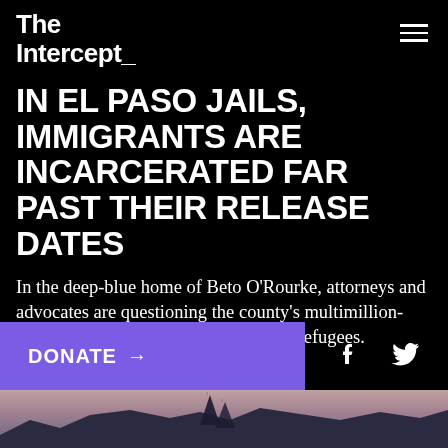The Intercept_
IN EL PASO JAILS, IMMIGRANTS ARE INCARCERATED FAR PAST THEIR RELEASE DATES
In the deep-blue home of Beto O'Rourke, attorneys and advocates are questioning the county's multimillion-dollar contract to detain migrants and refugees.
Debbie Nathan
March 20 2019, 1:00 p.m.
[Figure (photo): Photo strip at bottom showing mountain silhouette/landscape with flags, taken at dusk with purple/blue tones]